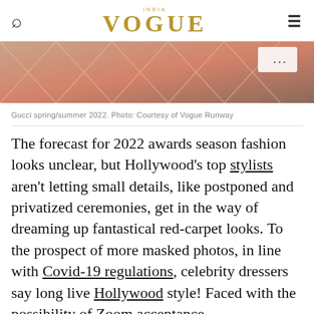VOGUE
[Figure (photo): Gucci spring/summer 2022 fashion runway image with geometric patterns in warm pink and brown tones, with a white '...' button overlay in the top right corner]
Gucci spring/summer 2022. Photo: Courtesy of Vogue Runway
The forecast for 2022 awards season fashion looks unclear, but Hollywood's top stylists aren't letting small details, like postponed and privatized ceremonies, get in the way of dreaming up fantastical red-carpet looks. To the prospect of more masked photos, in line with Covid-19 regulations, celebrity dressers say long live Hollywood style! Faced with the possibility of Zoom acceptance